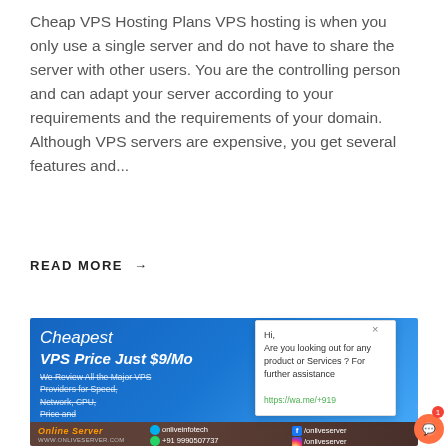Cheap VPS Hosting Plans VPS hosting is when you only use a single server and do not have to share the server with other users. You are the controlling person and can adapt your server according to your requirements and the requirements of your domain. Although VPS servers are expensive, you get several features and...
READ MORE →
[Figure (infographic): Advertisement banner for Onlive Server VPS hosting. Blue gradient background with text: Cheapest VPS Price Just $9/Mo. We Review All the Major VPS Providers for Speed, Network, CPU, Price and Overall Ratings! Bottom dark brown bar with logo 'Online Server', website www.onliveserver.com, contact: onliveinfotech, +91 9990507737, Facebook /onliveserver, Instagram /onliveserver. A chat popup on the right with text: Hi, Are you looking out for any product or Services? For further assistance https://wa.me/+919]